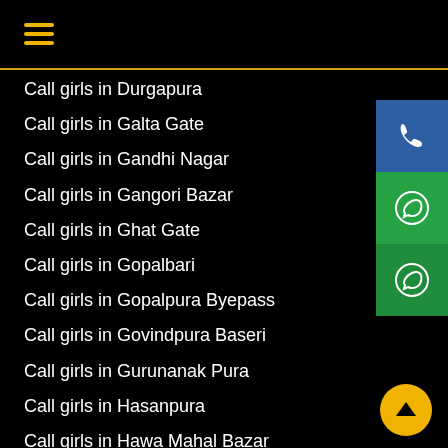≡
Call girls in Durgapura
Call girls in Galta Gate
Call girls in Gandhi Nagar
Call girls in Gangori Bazar
Call girls in Ghat Gate
Call girls in Gopalbari
Call girls in Gopalpura Byepass
Call girls in Govindpura Baseri
Call girls in Gurunanak Pura
Call girls in Hasanpura
Call girls in Hawa Mahal Bazar
Call girls in Hawa Sadak
Call girls in Heerapura
Call girls in Imli Phatak
Call girls in Indira Bazar
Call girls in Indra Bazar
Call girls in Industrial Estate